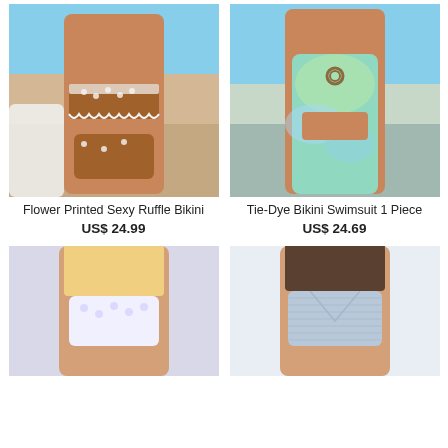[Figure (photo): Woman wearing a brown and white floral ruffled bikini on a beach]
Flower Printed Sexy Ruffle Bikini
US$ 24.99
[Figure (photo): Woman wearing a tie-dye green one-piece cut-out swimsuit on a beach]
Tie-Dye Bikini Swimsuit 1 Piece
US$ 24.69
[Figure (photo): Blonde woman wearing a white patterned bikini top]
[Figure (photo): Woman wearing a light blue ribbed triangle bikini top]